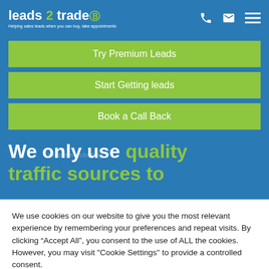[Figure (logo): Leads 2 Trade logo with tagline 'Helping sales leads when you can buy, take appointments' on blue background]
Try Premium Leads
Start Getting leads
Book a Call Back
We only use quality traffic sources to
We use cookies on our website to give you the most relevant experience by remembering your preferences and repeat visits. By clicking “Accept All”, you consent to the use of ALL the cookies. However, you may visit "Cookie Settings" to provide a controlled consent.
Cookie Settings  Reject All  Accept All